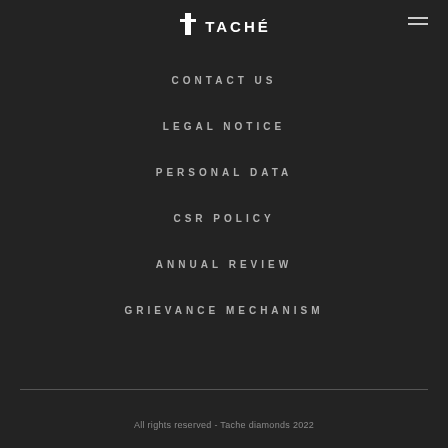TACHÉ
CONTACT US
LEGAL NOTICE
PERSONAL DATA
CSR POLICY
ANNUAL REVIEW
GRIEVANCE MECHANISM
All rights reserved - Tache diamonds 2022